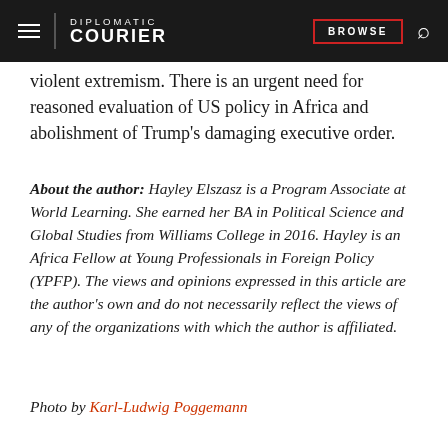DIPLOMATIC COURIER | BROWSE
violent extremism. There is an urgent need for reasoned evaluation of US policy in Africa and abolishment of Trump's damaging executive order.
About the author: Hayley Elszasz is a Program Associate at World Learning. She earned her BA in Political Science and Global Studies from Williams College in 2016. Hayley is an Africa Fellow at Young Professionals in Foreign Policy (YPFP). The views and opinions expressed in this article are the author's own and do not necessarily reflect the views of any of the organizations with which the author is affiliated.
Photo by Karl-Ludwig Poggemann